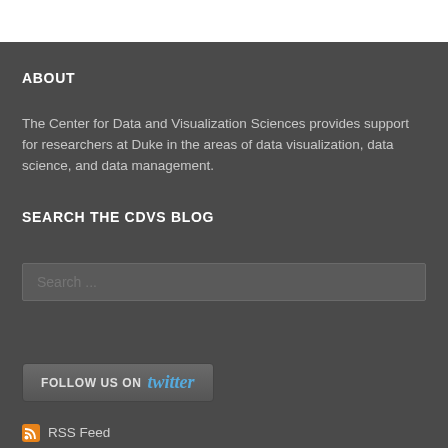ABOUT
The Center for Data and Visualization Sciences provides support for researchers at Duke in the areas of data visualization, data science, and data management.
SEARCH THE CDVS BLOG
Search ...
[Figure (other): Follow us on Twitter button with dark gray background and blue Twitter logo text]
RSS Feed